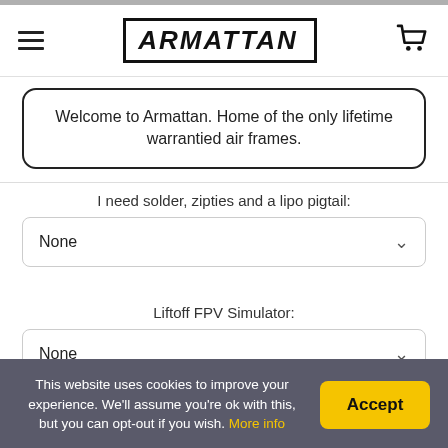ARMATTAN
Welcome to Armattan. Home of the only lifetime warrantied air frames.
I need solder, zipties and a lipo pigtail:
None
Liftoff FPV Simulator:
None
Build this for me:
This website uses cookies to improve your experience. We'll assume you're ok with this, but you can opt-out if you wish. More info